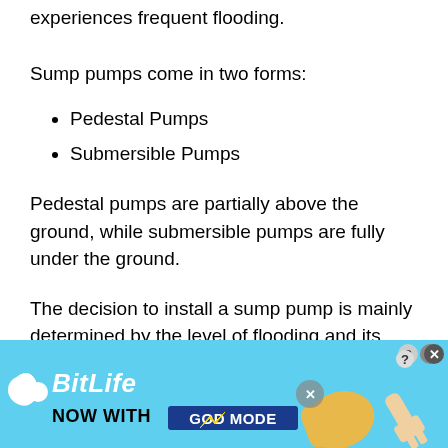experiences frequent flooding.
Sump pumps come in two forms:
Pedestal Pumps
Submersible Pumps
Pedestal pumps are partially above the ground, while submersible pumps are fully under the ground.
The decision to install a sump pump is mainly determined by the level of flooding and its effects on the house’s stability. If your house is
[Figure (illustration): BitLife advertisement banner with light blue background, BitLife logo with snake icon, 'NOW WITH GOD MODE' text, and pointing hand illustrations]